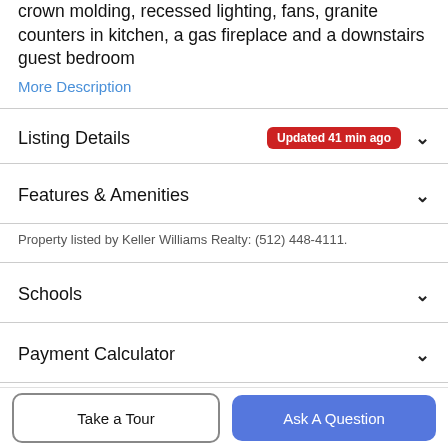crown molding, recessed lighting, fans, granite counters in kitchen, a gas fireplace and a downstairs guest bedroom
More Description
Listing Details  Updated 41 min ago
Features & Amenities
Property listed by Keller Williams Realty: (512) 448-4111.
Schools
Payment Calculator
Contact Agent
Take a Tour
Ask A Question